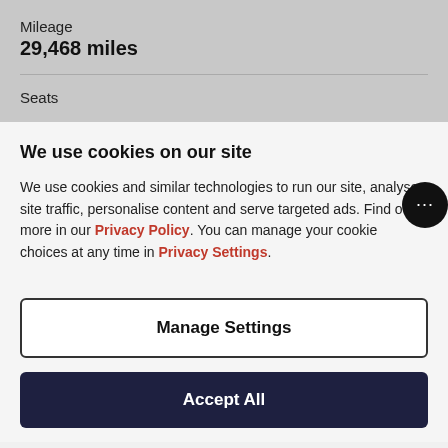Mileage
29,468 miles
Seats
We use cookies on our site
We use cookies and similar technologies to run our site, analyse site traffic, personalise content and serve targeted ads. Find out more in our Privacy Policy. You can manage your cookie choices at any time in Privacy Settings.
Manage Settings
Accept All